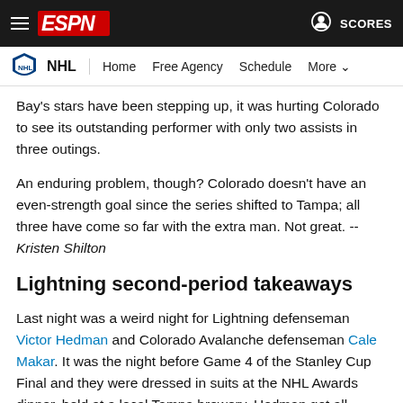ESPN — NHL | Home | Free Agency | Schedule | More | SCORES
Bay's stars have been stepping up, it was hurting Colorado to see its outstanding performer with only two assists in three outings.
An enduring problem, though? Colorado doesn't have an even-strength goal since the series shifted to Tampa; all three have come so far with the extra man. Not great. -- Kristen Shilton
Lightning second-period takeaways
Last night was a weird night for Lightning defenseman Victor Hedman and Colorado Avalanche defenseman Cale Makar. It was the night before Game 4 of the Stanley Cup Final and they were dressed in suits at the NHL Awards dinner, held at a local Tampa brewery. Hedman got all dolled up just to watch Makar